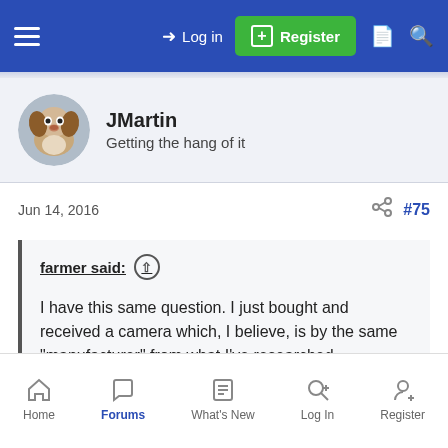Log in | Register
JMartin
Getting the hang of it
Jun 14, 2016 #75
farmer said:
I have this same question. I just bought and received a camera which, I believe, is by the same "manufacturer" from what I've researched.

I tried the "95" preset per the video but it did nothing with mine.
My camera clearly uses different firmware from the one in the video example.

Click to expand...
Home | Forums | What's New | Log In | Register